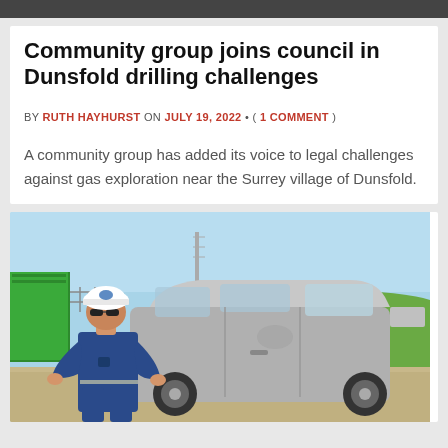Community group joins council in Dunsfold drilling challenges
BY RUTH HAYHURST ON JULY 19, 2022 • ( 1 COMMENT )
A community group has added its voice to legal challenges against gas exploration near the Surrey village of Dunsfold.
[Figure (photo): Person wearing white hard hat and blue coveralls standing in front of a grey van at an industrial or drilling site, with green containers and a grassy embankment in the background.]